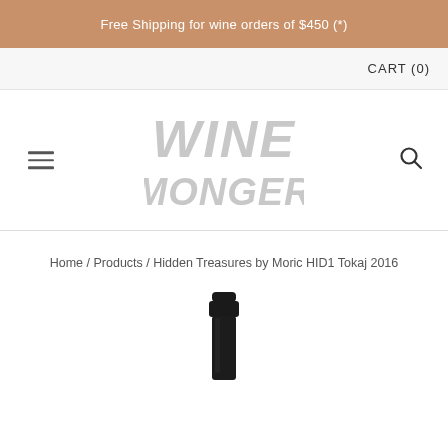Free Shipping for wine orders of $450 (*)
CART (0)
[Figure (logo): Wine Monger logo in light gray stylized handwritten lettering]
Home / Products / Hidden Treasures by Moric HID1 Tokaj 2016
[Figure (photo): Top of a dark wine bottle with black capsule, partially visible]